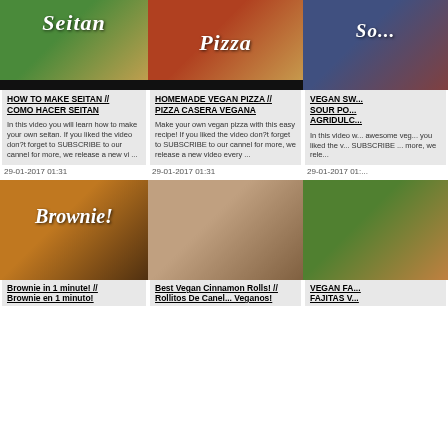[Figure (photo): Thumbnail image of seitan preparation on green cutting board with knife]
HOW TO MAKE SEITAN // COMO HACER SEITAN
In this video you will learn how to make your own seitan. If you liked the video don?t forget to SUBSCRIBE to our cannel for more, we release a new vi ...
[Figure (photo): Thumbnail image of homemade vegan pizza with vegetables and text Pizza overlay]
HOMEMADE VEGAN PIZZA // PIZZA CASERA VEGANA
Make your own vegan pizza with this easy recipe! If you liked the video don?t forget to SUBSCRIBE to our cannel for more, we release a new video every ...
[Figure (photo): Thumbnail image partially visible with text So... overlay, dark background]
VEGAN SW... SOUR PO... AGRIDULC...
In this video w... awesome veg... you liked the v... SUBSCRIBE ... more, we rele...
29-01-2017 01:31
29-01-2017 01:31
29-01-2017 01:...
[Figure (photo): Thumbnail image of brownie in a mug with yellow rim, text Brownie! overlay]
Brownie in 1 minute! // Brownie en 1 minuto!
[Figure (photo): Thumbnail image of vegan cinnamon rolls dough in a baking tray]
Best Vegan Cinnamon Rolls! // Rollitos De Canel... Veganos!
[Figure (photo): Thumbnail image partially visible showing fajitas dish with colorful vegetables]
VEGAN FA... FAJITAS V...